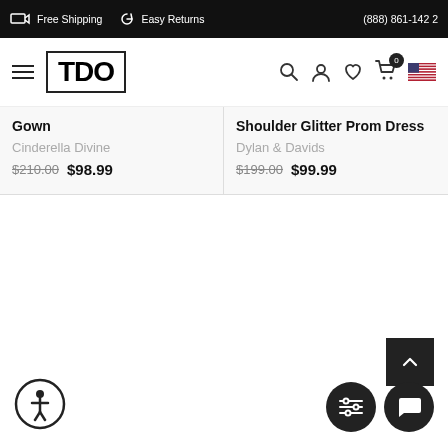Free Shipping  Easy Returns  (888) 861-1422
[Figure (logo): TDO logo in bordered box with hamburger menu, search, account, wishlist, cart (0), and US flag icons]
Gown
Shoulder Glitter Prom Dress
Cinderella Divine
Dylan & Davids
$210.00  $98.99
$199.00  $99.99
[Figure (infographic): Accessibility icon (person in circle), filter sliders button, and chat bubble button at bottom of page]
[Figure (other): Back to top arrow button (black square with white chevron up)]